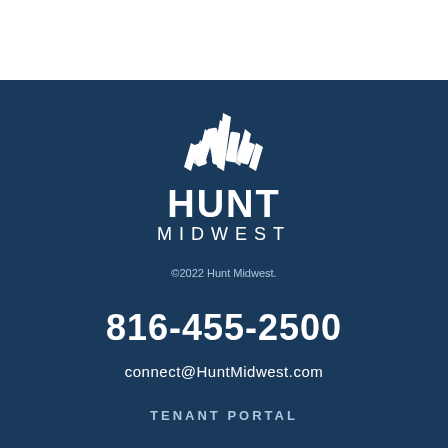[Figure (logo): Hunt Midwest logo: white geometric building/arrow shapes above the text HUNT MIDWEST on a dark blue background]
©2022 Hunt Midwest.
816-455-2500
connect@HuntMidwest.com
TENANT PORTAL